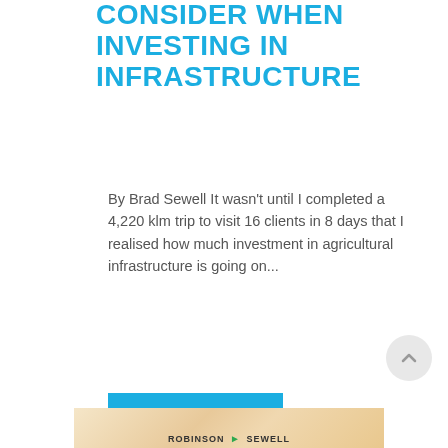CONSIDER WHEN INVESTING IN INFRASTRUCTURE
By Brad Sewell It wasn't until I completed a 4,220 klm trip to visit 16 clients in 8 days that I realised how much investment in agricultural infrastructure is going on...
READ MORE
[Figure (photo): Bottom image showing warm golden/beige tones with Robinson Sewell logo text]